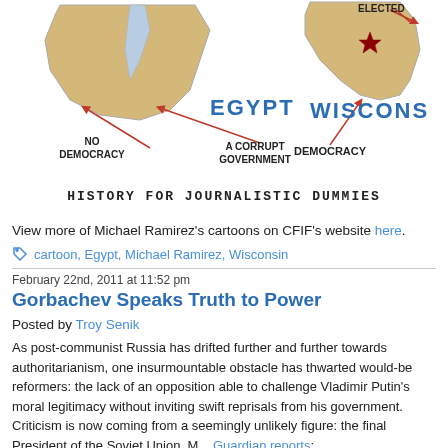[Figure (illustration): Political cartoon comparing Egypt and Wisconsin. Shows two maps/landmasses labeled EGYPT (with 'NO DEMOCRACY' and 'A CORRUPT GOVERNMENT' annotations) and WISCONSIN (with 'DEMOCRACY' and 'ELECTED' annotations). Title reads 'HISTORY FOR JOURNALISTIC DUMMIES'.]
View more of Michael Ramirez's cartoons on CFIF's website here.
cartoon, Egypt, Michael Ramirez, Wisconsin
February 22nd, 2011 at 11:52 pm
Gorbachev Speaks Truth to Power
Posted by Troy Senik
As post-communist Russia has drifted further and further towards authoritarianism, one insurmountable obstacle has thwarted would-be reformers: the lack of an opposition able to challenge Vladimir Putin's moral legitimacy without inviting swift reprisals from his government. Criticism is now coming from a seemingly unlikely figure: the final President of the Soviet Union, M... Guardian reports:
Russia under prime minister Vladimir Putin is a sham democracy, Mikhail G... harshest criticism yet of the ruling regime.